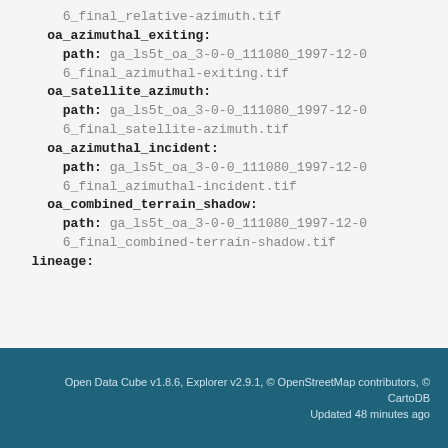6_final_relative-azimuth.tif
    oa_azimuthal_exiting:
      path: ga_ls5t_oa_3-0-0_111080_1997-12-06_final_azimuthal-exiting.tif
    oa_satellite_azimuth:
      path: ga_ls5t_oa_3-0-0_111080_1997-12-06_final_satellite-azimuth.tif
    oa_azimuthal_incident:
      path: ga_ls5t_oa_3-0-0_111080_1997-12-06_final_azimuthal-incident.tif
    oa_combined_terrain_shadow:
      path: ga_ls5t_oa_3-0-0_111080_1997-12-06_final_combined-terrain-shadow.tif
  lineage:
Open Data Cube v1.8.6, Explorer v2.9.1, © OpenStreetMap contributors, © CartoDB
Updated 48 minutes ago